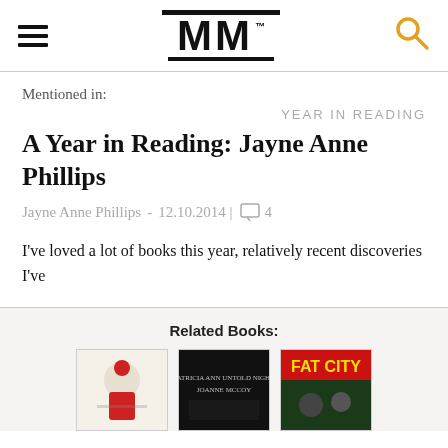MM
Mentioned in:
YEAR IN READING
A Year in Reading: Jayne Anne Phillips
Jayne Anne Phillips - 12.10.2014 | 4
I’ve loved a lot of books this year, relatively recent discoveries I’ve
Related Books:
[Figure (illustration): Three book covers shown partially: a cream-colored cover with red figure, a dark cover, and a red/green 'FAT CITY' cover]